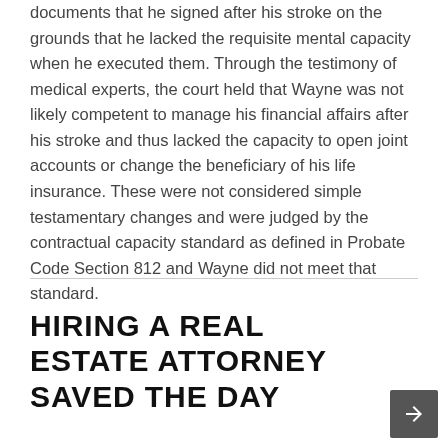documents that he signed after his stroke on the grounds that he lacked the requisite mental capacity when he executed them. Through the testimony of medical experts, the court held that Wayne was not likely competent to manage his financial affairs after his stroke and thus lacked the capacity to open joint accounts or change the beneficiary of his life insurance. These were not considered simple testamentary changes and were judged by the contractual capacity standard as defined in Probate Code Section 812 and Wayne did not meet that standard.
HIRING A REAL ESTATE ATTORNEY SAVED THE DAY